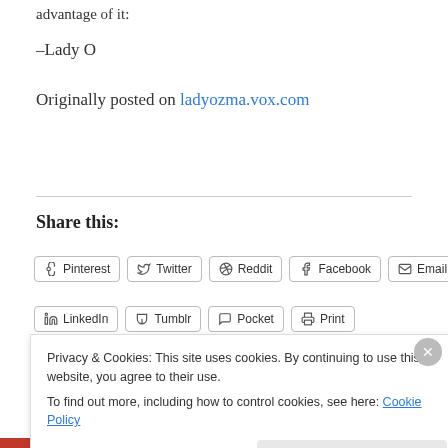advantage of it:
–Lady O
Originally posted on ladyozma.vox.com
Share this:
Pinterest  Twitter  Reddit  Facebook  Email
LinkedIn  Tumblr  Pocket  Print
Privacy & Cookies: This site uses cookies. By continuing to use this website, you agree to their use.
To find out more, including how to control cookies, see here: Cookie Policy
Close and accept